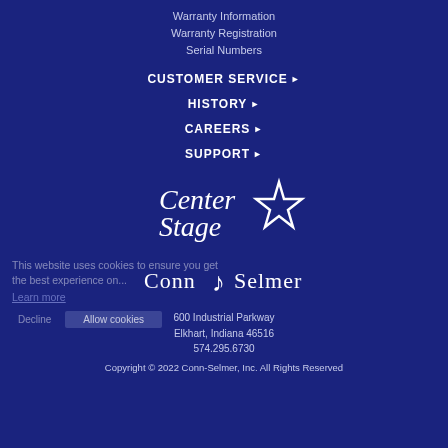Warranty Information
Warranty Registration
Serial Numbers
CUSTOMER SERVICE ▶
HISTORY ▶
CAREERS ▶
SUPPORT ▶
[Figure (logo): Center Stage logo with star graphic in white italic serif font]
[Figure (logo): Conn-Selmer logo with musical note graphic in white serif font]
600 Industrial Parkway
Elkhart, Indiana 46516
574.295.6730
Copyright © 2022 Conn-Selmer, Inc. All Rights Reserved